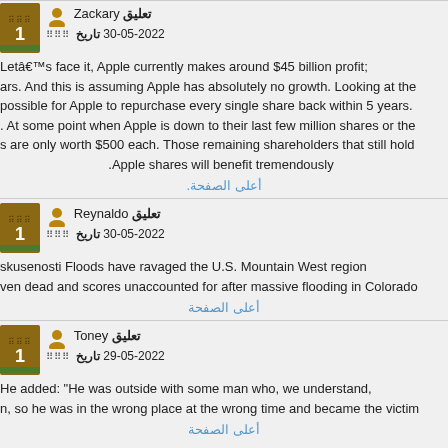تعليق Zackary
تاريخ 30-05-2022
Letâ€™s face it, Apple currently makes around $45 billion profit; ars. And this is assuming Apple has absolutely no growth. Looking at the possible for Apple to repurchase every single share back within 5 years. At some point when Apple is down to their last few million shares or the s are only worth $500 each. Those remaining shareholders that still hold .Apple shares will benefit tremendously
أعلى الصفحة
تعليق Reynaldo
تاريخ 30-05-2022
skusenosti Floods have ravaged the U.S. Mountain West region ven dead and scores unaccounted for after massive flooding in Colorado
أعلى الصفحة
تعليق Toney
تاريخ 29-05-2022
He added: "He was outside with some man who, we understand, n, so he was in the wrong place at the wrong time and became the victim
أعلى الصفحة